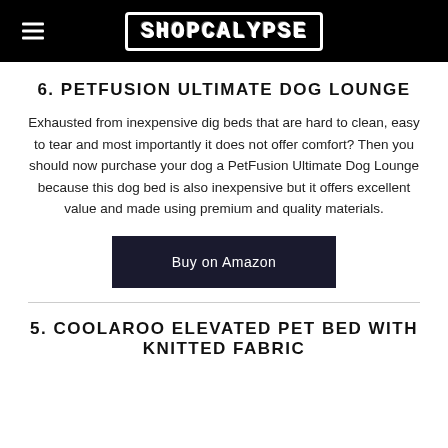SHOPCALYPSE
6. PETFUSION ULTIMATE DOG LOUNGE
Exhausted from inexpensive dig beds that are hard to clean, easy to tear and most importantly it does not offer comfort? Then you should now purchase your dog a PetFusion Ultimate Dog Lounge because this dog bed is also inexpensive but it offers excellent value and made using premium and quality materials.
Buy on Amazon
5. COOLAROO ELEVATED PET BED WITH KNITTED FABRIC